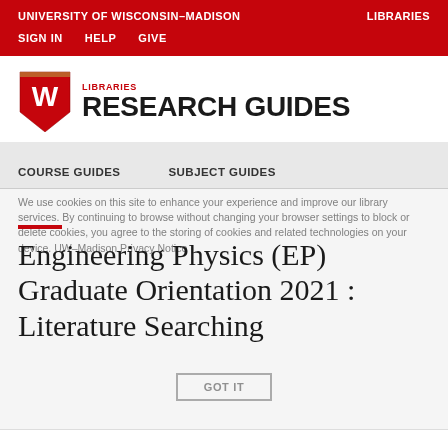UNIVERSITY OF WISCONSIN–MADISON    LIBRARIES
SIGN IN    HELP    GIVE
[Figure (logo): University of Wisconsin–Madison Libraries Research Guides logo with UW shield]
COURSE GUIDES    SUBJECT GUIDES
We use cookies on this site to enhance your experience and improve our library services. By continuing to browse without changing your browser settings to block or delete cookies, you agree to the storing of cookies and related technologies on your device. UW–Madison Privacy Notice
Engineering Physics (EP) Graduate Orientation 2021 : Literature Searching
GOT IT